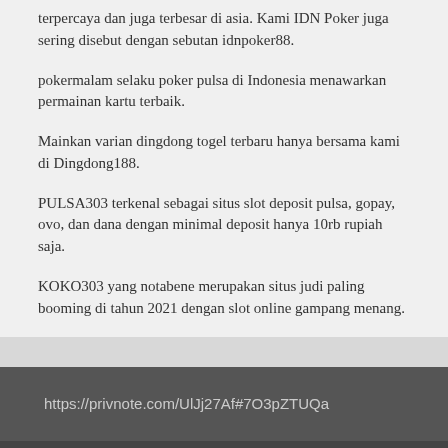terpercaya dan juga terbesar di asia. Kami IDN Poker juga sering disebut dengan sebutan idnpoker88.
pokermalam selaku poker pulsa di Indonesia menawarkan permainan kartu terbaik.
Mainkan varian dingdong togel terbaru hanya bersama kami di Dingdong188.
PULSA303 terkenal sebagai situs slot deposit pulsa, gopay, ovo, dan dana dengan minimal deposit hanya 10rb rupiah saja.
KOKO303 yang notabene merupakan situs judi paling booming di tahun 2021 dengan slot online gampang menang.
https://privnote.com/UlJj27Af#7O3pZTUQa
Copyright © 2022 matka-tips.com